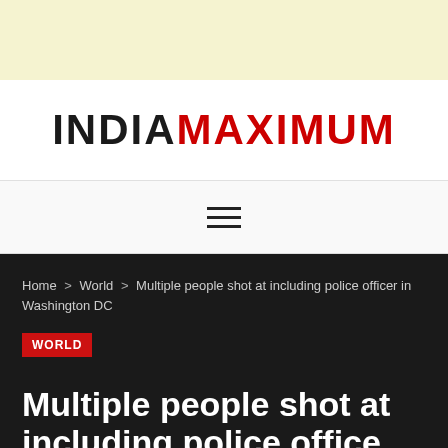[Figure (other): Advertisement banner area with light yellow background]
INDIAMAXIMUM
[Figure (other): Hamburger menu icon with three horizontal lines]
Home > World > Multiple people shot at including police officer in Washington DC
WORLD
Multiple people shot at including police office...